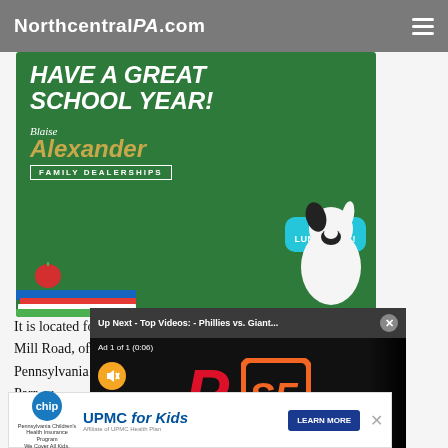NorthcentralPA.com
[Figure (illustration): Blaise Alexander Family Dealerships advertisement with green chalkboard background reading 'HAVE A GREAT SCHOOL YEAR!', a cartoon dog with a lunch box labeled LYLE'S LUNCH BOX, a stack of books, and a red apple.]
[Figure (screenshot): Video player overlay showing 'Up Next - Top Videos: - Phillies vs. Giant...' with Phillies and Giants logos visible, and an ad label 'Ad 1 of 1 (0:06)' with mute button.]
[Figure (illustration): UPMC for Kids advertisement featuring CHIP Pennsylvania Children's Health Insurance Program logo and a Learn More button.]
It is located four miles... Mill Road, off Ashton... Pennsylvania Route 4... Parr, w... Mill in...